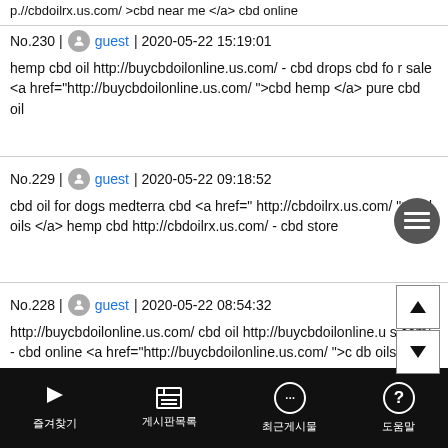p.//cbdoilrx.us.com/ >cbd near me </a> cbd online
No.230 | guest | 2020-05-22 15:19:01
hemp cbd oil http://buycbdoilonline.us.com/ - cbd drops cbd for sale <a href="http://buycbdoilonline.us.com/ ">cbd hemp </a> pure cbd oil
No.229 | guest | 2020-05-22 09:18:52
cbd oil for dogs medterra cbd <a href=" http://cbdoilrx.us.com/ ">cbd oils </a> hemp cbd http://cbdoilrx.us.com/ - cbd store
No.228 | guest | 2020-05-22 08:54:32
http://buycbdoilonline.us.com/ cbd oil http://buycbdoilonline.us.com/ - cbd online <a href="http://buycbdoilonline.us.com/ ">cbd oils </a>
즐겨찾기  게시판목록  최근게시물  도움말